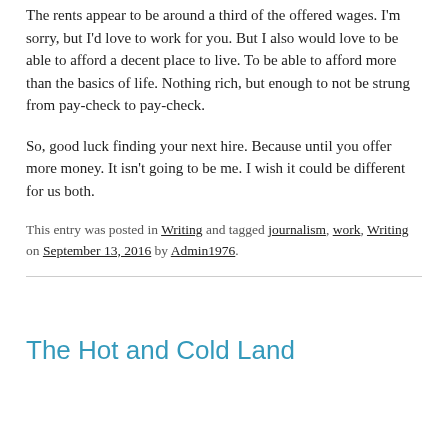The rents appear to be around a third of the offered wages. I'm sorry, but I'd love to work for you. But I also would love to be able to afford a decent place to live. To be able to afford more than the basics of life. Nothing rich, but enough to not be strung from pay-check to pay-check.
So, good luck finding your next hire. Because until you offer more money. It isn't going to be me. I wish it could be different for us both.
This entry was posted in Writing and tagged journalism, work, Writing on September 13, 2016 by Admin1976.
The Hot and Cold Land